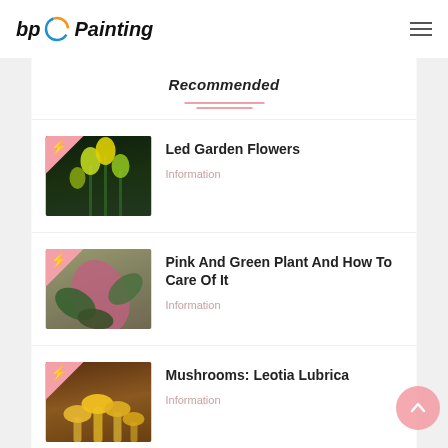bp Painting
Recommended
[Figure (photo): LED garden flower lights glowing green and yellow in dark garden setting]
Led Garden Flowers
Information
[Figure (photo): Pink and green tropical plant with broad leaves]
Pink And Green Plant And How To Care Of It
Information
[Figure (photo): Yellow and orange mushrooms - Leotia Lubrica]
Mushrooms: Leotia Lubrica
Information